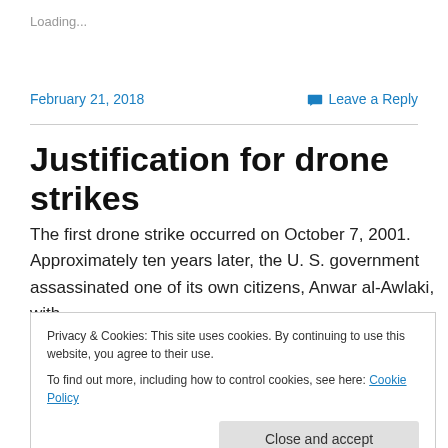Loading...
February 21, 2018
Leave a Reply
Justification for drone strikes
The first drone strike occurred on October 7, 2001. Approximately ten years later, the U. S. government assassinated one of its own citizens, Anwar al-Awlaki, with
Privacy & Cookies: This site uses cookies. By continuing to use this website, you agree to their use.
To find out more, including how to control cookies, see here: Cookie Policy
ordnance against people who declare themselves